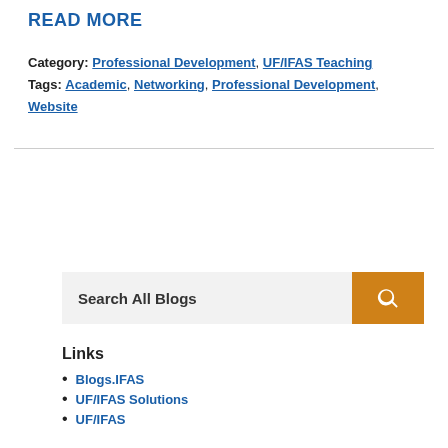READ MORE
Category: Professional Development, UF/IFAS Teaching
Tags: Academic, Networking, Professional Development, Website
Search All Blogs
Links
Blogs.IFAS
UF/IFAS Solutions
UF/IFAS